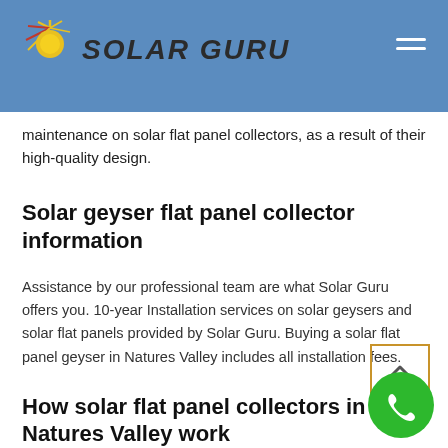SOLAR GURU
maintenance on solar flat panel collectors, as a result of their high-quality design.
Solar geyser flat panel collector information
Assistance by our professional team are what Solar Guru offers you. 10-year Installation services on solar geysers and solar flat panels provided by Solar Guru. Buying a solar flat panel geyser in Natures Valley includes all installation fees.
How solar flat panel collectors in Natures Valley work